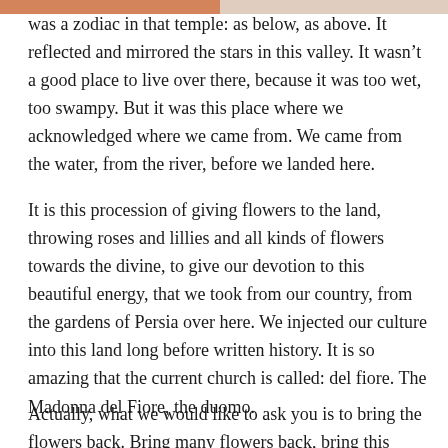was a zodiac in that temple: as below, as above. It reflected and mirrored the stars in this valley. It wasn't a good place to live over there, because it was too wet, too swampy. But it was this place where we acknowledged where we came from. We came from the water, from the river, before we landed here.
It is this procession of giving flowers to the land, throwing roses and lillies and all kinds of flowers towards the divine, to give our devotion to this beautiful energy, that we took from our country, from the gardens of Persia over here. We injected our culture into this land long before written history. It is so amazing that the current church is called: del fiore. The Madonna del Fiore, the duomo.
Actually, what we would like to ask you is to bring the flowers back. Bring many flowers back, bring this